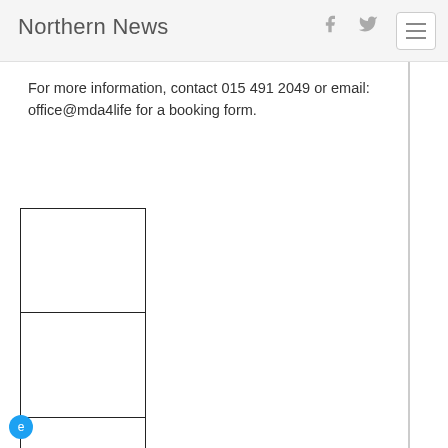Northern News
For more information, contact 015 491 2049 or email: office@mda4life for a booking form.
[Figure (other): Tweet button with Twitter bird icon]
[Figure (other): Three stacked empty image placeholder boxes with black borders on the left side of the page]
[Figure (other): Small blue circular icon at bottom left corner]